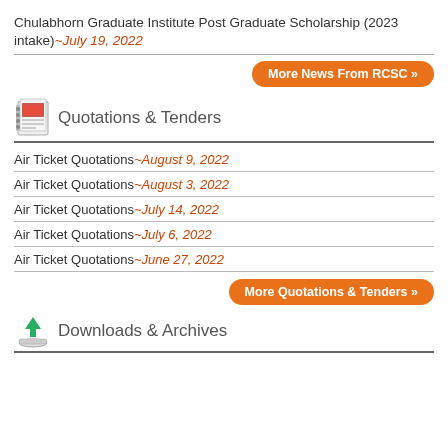Chulabhorn Graduate Institute Post Graduate Scholarship (2023 intake)~July 19, 2022
More News From RCSC »
Quotations & Tenders
Air Ticket Quotations~August 9, 2022
Air Ticket Quotations~August 3, 2022
Air Ticket Quotations~July 14, 2022
Air Ticket Quotations~July 6, 2022
Air Ticket Quotations~June 27, 2022
More Quotations & Tenders »
Downloads & Archives